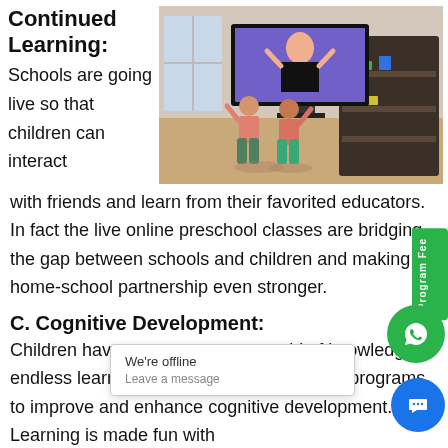Continued Learning:
Schools are going live so that children can interact
[Figure (photo): Two young children standing in a living room watching a woman on a large TV screen, appearing to follow along with an interactive lesson or dance.]
with friends and learn from their favorited educators. In fact the live online preschool classes are bridging the gap between schools and children and making home-school partnership even stronger.
C. Cognitive Development:
Children have access to a vast world of knowledge endless learning opportunities and activity programs to improve and enhance cognitive development. Learning is made fun with